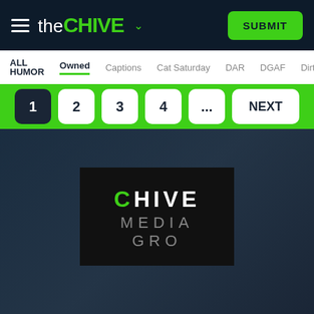[Figure (screenshot): theChive website header with hamburger menu, theChive logo, and green SUBMIT button]
the CHIVE
ALL HUMOR
Owned
Captions
Cat Saturday
DAR
DGAF
Dirty Meme
[Figure (infographic): Pagination bar with buttons 1 (current/active), 2, 3, 4, ..., NEXT on green background]
[Figure (logo): Chive Media Group logo on black background with green C]